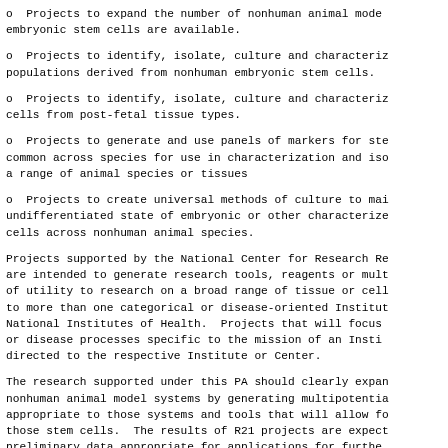o  Projects to expand the number of nonhuman animal mode embryonic stem cells are available.
o  Projects to identify, isolate, culture and characteriz populations derived from nonhuman embryonic stem cells.
o  Projects to identify, isolate, culture and characteriz cells from post-fetal tissue types.
o  Projects to generate and use panels of markers for ste common across species for use in characterization and iso a range of animal species or tissues
o  Projects to create universal methods of culture to mai undifferentiated state of embryonic or other characterize cells across nonhuman animal species.
Projects supported by the National Center for Research Re are intended to generate research tools, reagents or mult of utility to research on a broad range of tissue or cell to more than one categorical or disease-oriented Institut National Institutes of Health.  Projects that will focus or disease processes specific to the mission of an Insti directed to the respective Institute or Center.
The research supported under this PA should clearly expan nonhuman animal model systems by generating multipotentia appropriate to those systems and tools that will allow fo those stem cells.  The results of R21 projects are expect preliminary data appropriate for applications for furthe